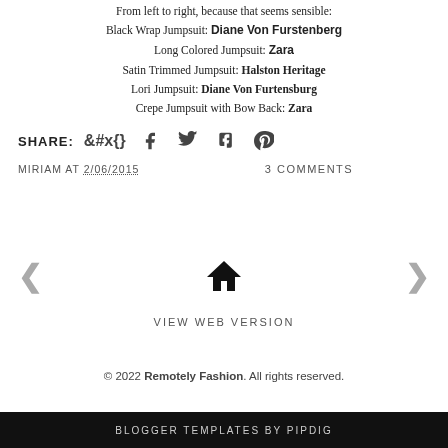From left to right, because that seems sensible:
Black Wrap Jumpsuit: Diane Von Furstenberg
Long Colored Jumpsuit: Zara
Satin Trimmed Jumpsuit: Halston Heritage
Lori Jumpsuit: Diane Von Furtensburg
Crepe Jumpsuit with Bow Back: Zara
SHARE: [facebook] [twitter] [tumblr] [pinterest]
MIRIAM AT 2/06/2015
3 COMMENTS
◀ [home] ▶
VIEW WEB VERSION
© 2022 Remotely Fashion. All rights reserved.
BLOGGER TEMPLATES BY pipdig